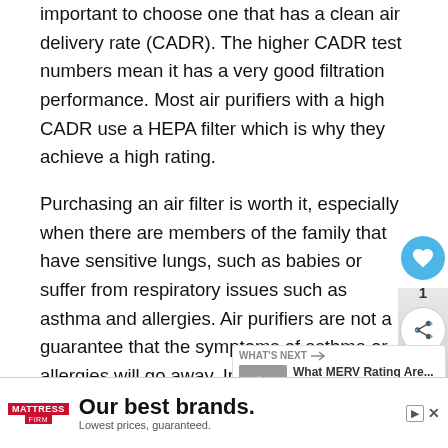important to choose one that has a clean air delivery rate (CADR). The higher CADR test numbers mean it has a very good filtration performance. Most air purifiers with a high CADR use a HEPA filter which is why they achieve a high rating.
Purchasing an air filter is worth it, especially when there are members of the family that have sensitive lungs, such as babies or suffer from respiratory issues such as asthma and allergies. Air purifiers are not a guarantee that the symptoms of asthma or allergies will go away. In most cases, there won't be a significant improvement, but it will surely...
Air purifiers also do not eliminate the source of
[Figure (screenshot): UI overlay with heart/like button (blue circle with heart icon), count of 1, and share button]
[Figure (infographic): What's Next card showing thumbnail image and title 'What MERV Rating Are...']
[Figure (screenshot): Advertisement banner for Mattress Firm: 'Our best brands. Lowest prices, guaranteed.' with play and close controls]